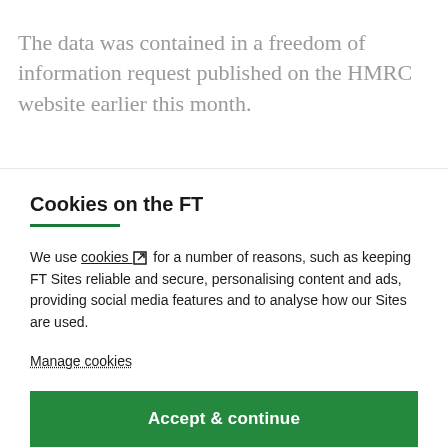The data was contained in a freedom of information request published on the HMRC website earlier this month.
Cookies on the FT
We use cookies ↗ for a number of reasons, such as keeping FT Sites reliable and secure, personalising content and ads, providing social media features and to analyse how our Sites are used.
Manage cookies
Accept & continue